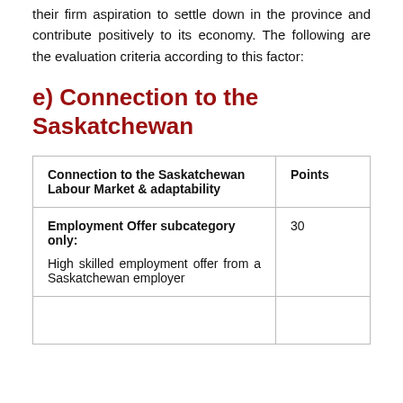their firm aspiration to settle down in the province and contribute positively to its economy. The following are the evaluation criteria according to this factor:
e) Connection to the Saskatchewan
| Connection to the Saskatchewan Labour Market & adaptability | Points |
| --- | --- |
| Employment Offer subcategory only:

High skilled employment offer from a Saskatchewan employer | 30 |